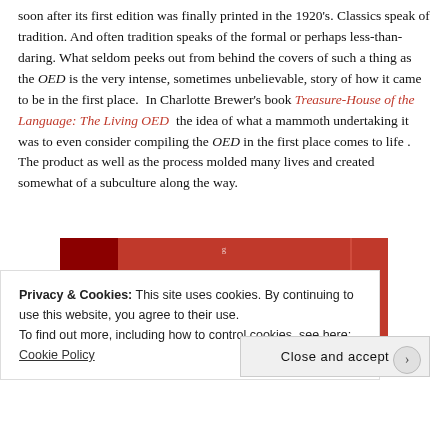soon after its first edition was finally printed in the 1920's. Classics speak of tradition. And often tradition speaks of the formal or perhaps less-than-daring. What seldom peeks out from behind the covers of such a thing as the OED is the very intense, sometimes unbelievable, story of how it came to be in the first place.  In Charlotte Brewer's book Treasure-House of the Language: The Living OED  the idea of what a mammoth undertaking it was to even consider compiling the OED in the first place comes to life . The product as well as the process molded many lives and created somewhat of a subculture along the way.
[Figure (screenshot): A red book cover UI element with a 'Start reading' button in the center on a dark rounded rectangle.]
Privacy & Cookies: This site uses cookies. By continuing to use this website, you agree to their use.
To find out more, including how to control cookies, see here: Cookie Policy
Close and accept